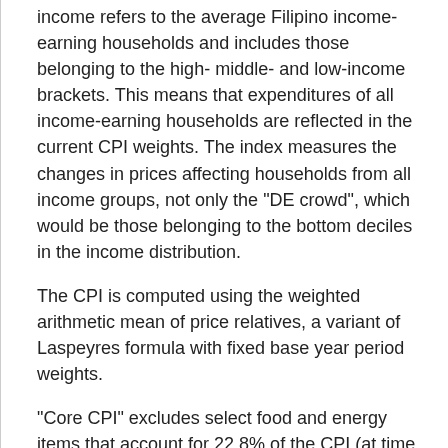income refers to the average Filipino income-earning households and includes those belonging to the high- middle- and low-income brackets. This means that expenditures of all income-earning households are reflected in the current CPI weights. The index measures the changes in prices affecting households from all income groups, not only the "DE crowd", which would be those belonging to the bottom deciles in the income distribution.
The CPI is computed using the weighted arithmetic mean of price relatives, a variant of Laspeyres formula with fixed base year period weights.
"Core CPI" excludes select food and energy items that account for 22.8% of the CPI (at time of adoption in 2018), viz: